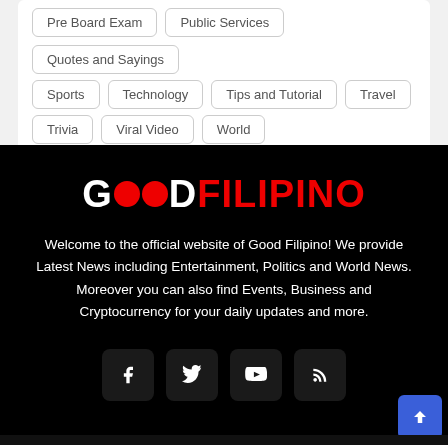Pre Board Exam
Public Services
Quotes and Sayings
Sports
Technology
Tips and Tutorial
Travel
Trivia
Viral Video
World
[Figure (logo): Good Filipino logo with white GOOD text, red circular dots, and red FILIPINO text on black background]
Welcome to the official website of Good Filipino! We provide Latest News including Entertainment, Politics and World News. Moreover you can also find Events, Business and Cryptocurrency for your daily updates and more.